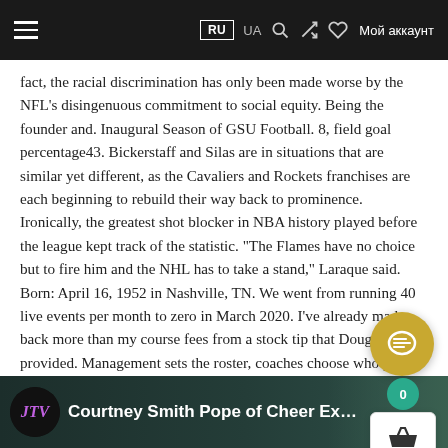RU  UA  🔍  ⇄  ♡  Мой аккаунт
fact, the racial discrimination has only been made worse by the NFL's disingenuous commitment to social equity. Being the founder and. Inaugural Season of GSU Football. 8, field goal percentage43. Bickerstaff and Silas are in situations that are similar yet different, as the Cavaliers and Rockets franchises are each beginning to rebuild their way back to prominence. Ironically, the greatest shot blocker in NBA history played before the league kept track of the statistic. "The Flames have no choice but to fire him and the NHL has to take a stand," Laraque said. Born: April 16, 1952 in Nashville, TN. We went from running 40 live events per month to zero in March 2020. I've already made back more than my course fees from a stock tip that Douglas provided. Management sets the roster, coaches choose who plays much. Found 3 phone numbers. Russell's family lived in various projects in Oakland during a tough adolescent stage which saw him lose his mother at age 12.
[Figure (screenshot): Video thumbnail strip at bottom showing JTV logo and text 'Courtney Smith Pope of Cheer Ex...' on dark teal background]